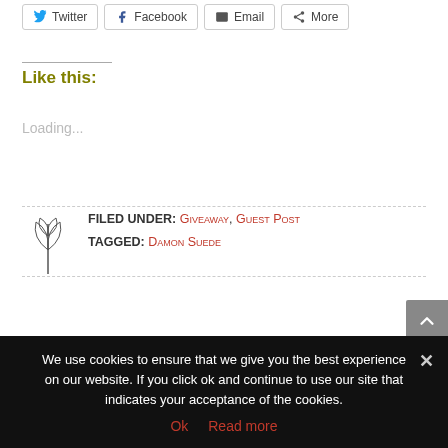Twitter | Facebook | Email | More (share buttons)
Like this:
Loading...
FILED UNDER: Giveaway, Guest Post
TAGGED: Damon Suede
We use cookies to ensure that we give you the best experience on our website. If you click ok and continue to use our site that indicates your acceptance of the cookies.
Ok   Read more